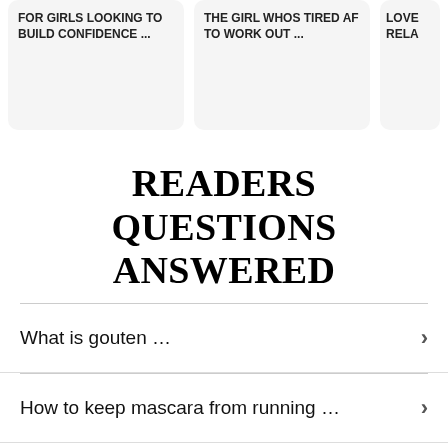[Figure (screenshot): Three card tiles at top showing article titles: 'FOR GIRLS LOOKING TO BUILD CONFIDENCE ...', 'THE GIRL WHOS TIRED AF TO WORK OUT ...', and 'LOVE RELA...' (partially visible)]
READERS QUESTIONS ANSWERED
What is gouten …
How to keep mascara from running …